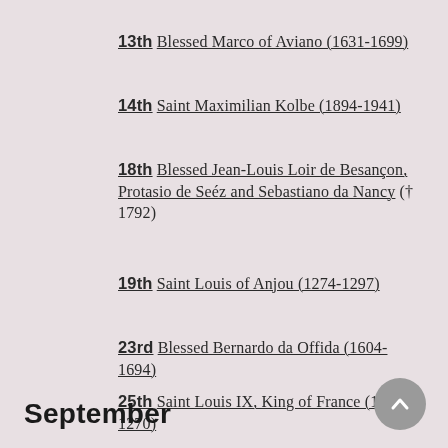13th Blessed Marco of Aviano (1631-1699)
14th Saint Maximilian Kolbe (1894-1941)
18th Blessed Jean-Louis Loir de Besançon, Protasio de Seéz and Sebastiano da Nancy († 1792)
19th Saint Louis of Anjou (1274-1297)
23rd Blessed Bernardo da Offida (1604-1694)
25th Saint Louis IX, King of France (1214-1270)
September